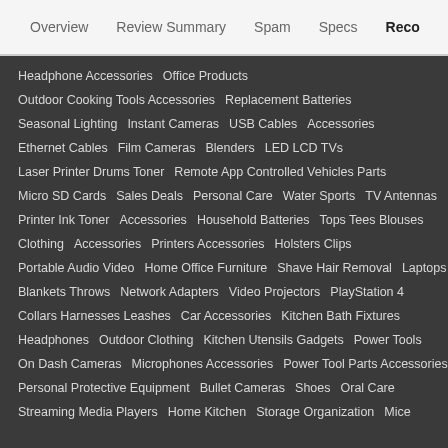Overview  Review Summary  Spam  Specs  Reco
Headphone Accessories  Office Products
Outdoor Cooking Tools Accessories  Replacement Batteries
Seasonal Lighting  Instant Cameras  USB Cables  Accessories
Ethernet Cables  Film Cameras  Blenders  LED LCD TVs
Laser Printer Drums Toner  Remote App Controlled Vehicles Parts
Micro SD Cards  Sales Deals  Personal Care  Water Sports  TV Antennas
Printer Ink Toner  Accessories  Household Batteries  Tops Tees Blouses
Clothing  Accessories  Printers Accessories  Holsters Clips
Portable Audio Video  Home Office Furniture  Shave Hair Removal  Laptops
Blankets Throws  Network Adapters  Video Projectors  PlayStation 4
Collars Harnesses Leashes  Car Accessories  Kitchen Bath Fixtures
Headphones  Outdoor Clothing  Kitchen Utensils Gadgets  Power Tools
On Dash Cameras  Microphones Accessories  Power Tool Parts Accessories
Personal Protective Equipment  Bullet Cameras  Shoes  Oral Care
Streaming Media Players  Home Kitchen  Storage Organization  Mice